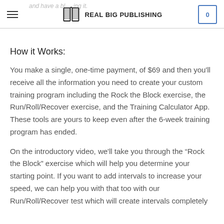Real Big Publishing
How it Works:
You make a single, one-time payment, of $69 and then you'll receive all the information you need to create your custom training program including the Rock the Block exercise, the Run/Roll/Recover exercise, and the Training Calculator App. These tools are yours to keep even after the 6-week training program has ended.
On the introductory video, we'll take you through the “Rock the Block” exercise which will help you determine your starting point. If you want to add intervals to increase your speed, we can help you with that too with our Run/Roll/Recover test which will create intervals completely